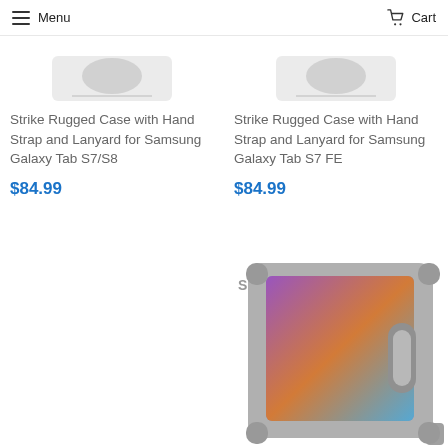Menu   Cart
[Figure (photo): Partial product image - Strike Rugged Case for Samsung Galaxy Tab S7/S8, top portion cropped]
Strike Rugged Case with Hand Strap and Lanyard for Samsung Galaxy Tab S7/S8
$84.99
[Figure (photo): Partial product image - Strike Rugged Case for Samsung Galaxy Tab S7 FE, top portion cropped]
Strike Rugged Case with Hand Strap and Lanyard for Samsung Galaxy Tab S7 FE
$84.99
[Figure (photo): Strike branded product image showing a rugged tablet case (grey) holding a Samsung Galaxy Tab, with Strike logo and wifi icon in upper left]